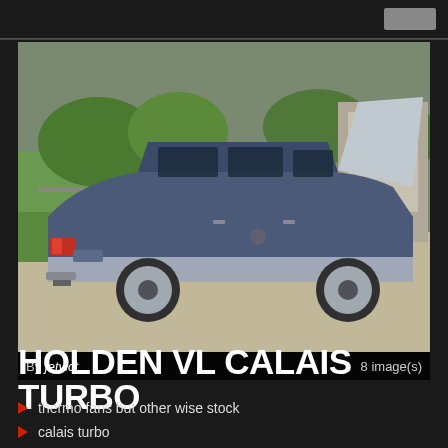[Figure (photo): A Holden VL Calais Turbo sedan photographed from the rear three-quarter angle with the hood open, parked on a driveway. The car is two-tone blue/grey and silver, with trees and a fence visible in the background.]
By jetvlct	8 image(s)
HOLDEN VL CALAIS TURBO
thermo fans but other wise stock
calais turbo